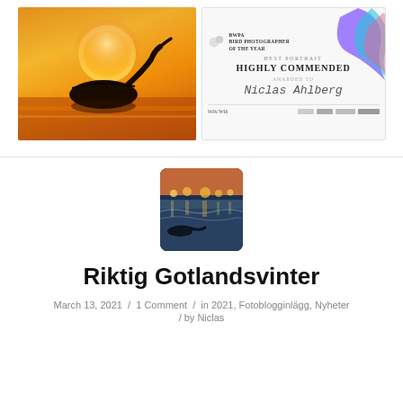[Figure (photo): Bird silhouette against orange sunset sky reflected on water]
[Figure (photo): BWPA Bird Photographer of the Year certificate - Best Portrait, Highly Commended, awarded to Niclas Ahlberg]
[Figure (photo): Small thumbnail of a bird near waves with bokeh lights in background, coastal scene at dusk]
Riktig Gotlandsvinter
March 13, 2021 / 1 Comment / in 2021, Fotoblogginlägg, Nyheter / by Niclas